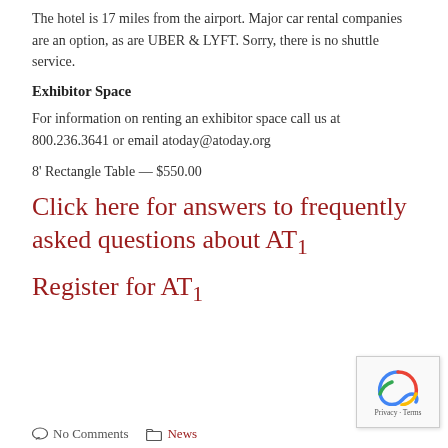The hotel is 17 miles from the airport. Major car rental companies are an option, as are UBER & LYFT. Sorry, there is no shuttle service.
Exhibitor Space
For information on renting an exhibitor space call us at 800.236.3641 or email atoday@atoday.org
8' Rectangle Table — $550.00
Click here for answers to frequently asked questions about AT1
Register for AT1
No Comments   News